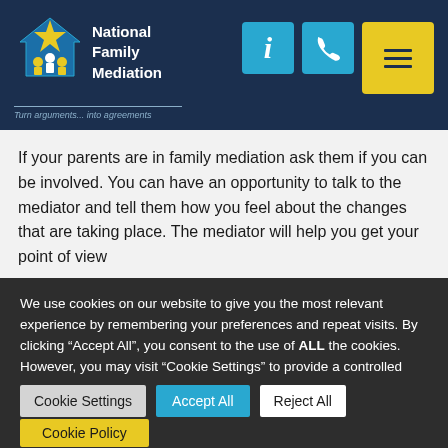[Figure (logo): National Family Mediation logo with stylized figures under a house/star shape in blue and yellow]
National Family Mediation
Turn arguments... into agreements
If your parents are in family mediation ask them if you can be involved. You can have an opportunity to talk to the mediator and tell them how you feel about the changes that are taking place. The mediator will help you get your point of view
We use cookies on our website to give you the most relevant experience by remembering your preferences and repeat visits. By clicking “Accept All”, you consent to the use of ALL the cookies. However, you may visit “Cookie Settings” to provide a controlled consent.
Cookie Settings | Accept All | Reject All
Cookie Policy